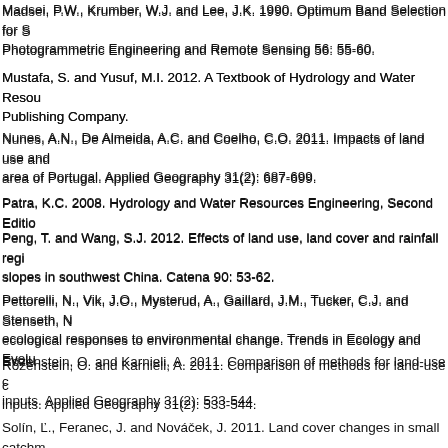Madsei, P.W., Krumber, W.J. and Lee, J.K. 1990. Optimum Band Selection for S Photogrammetric Engineering and Remote Sensing 56: 55-60.
Mustafa, S. and Yusuf, M.I. 2012. A Textbook of Hydrology and Water Resou Publishing Company.
Nunes, A.N., De Almeida, A.C. and Coelho, C.O. 2011. Impacts of land use and area of Portugal. Applied Geography 31(2): 687-699.
Patra, K.C. 2008. Hydrology and Water Resources Engineering, Second Editio
Peng, T. and Wang, S.J. 2012. Effects of land use, land cover and rainfall regi slopes in southwest China. Catena 90: 53-62.
Pettorelli, N., Vik, J.O., Mysterud, A., Gaillard, J.M., Tucker, C.J. and Stenseth, N ecological responses to environmental change. Trends in Ecology and Evolu
Rozenstein, O. and Karnieli, A. 2011. Comparison of methods for land-use c inputs. Applied Geography 31(2): 533-544.
Saghafian, B., Farazjoo, H., Bozorgy, B. and Yazdandoost, F. 2008. Flood inter Resources Management 22(8): 1051-1067.
Solín, Ľ., Feranec, J. and Nováček, J. 2011. Land cover changes in small catchm on frequency of flood events. Natural Hazards 56(1): 195-214.